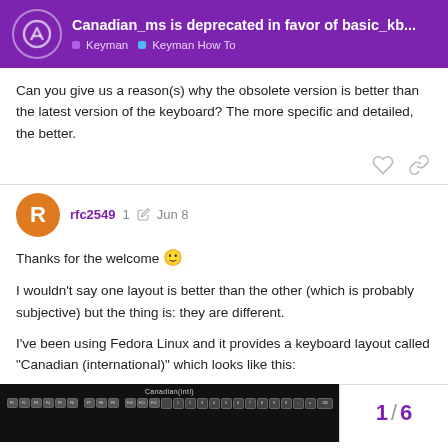Canadian_ms is deprecated in favor of basic_kb... | Keyman | Keyman How To
Can you give us a reason(s) why the obsolete version is better than the latest version of the keyboard? The more specific and detailed, the better.
rfc2549  1  Jun 8
Thanks for the welcome 🙂
I wouldn't say one layout is better than the other (which is probably subjective) but the thing is: they are different.
I've been using Fedora Linux and it provides a keyboard layout called “Canadian (international)” which looks like this:
[Figure (screenshot): Screenshot of a Canadian (international) keyboard layout on a dark background showing keyboard keys]
1 / 6